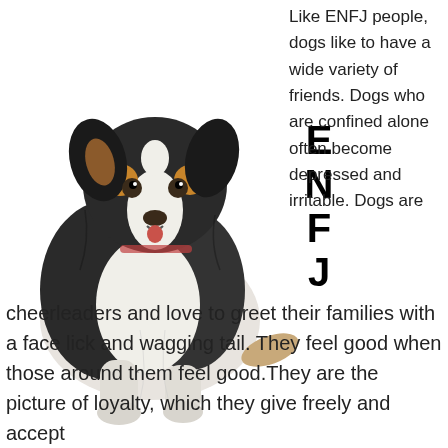[Figure (photo): A black, white, and tan Australian Shepherd dog lying down and facing forward, with a fluffy coat and alert expression, on a white background.]
E
N
F
J
Like ENFJ people, dogs like to have a wide variety of friends. Dogs who are confined alone often become depressed and irritable. Dogs are cheerleaders and love to greet their families with a face lick and wagging tail. They feel good when those around them feel good.They are the picture of loyalty, which they give freely and accept